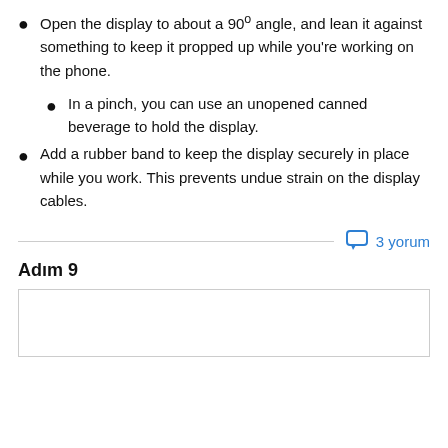Open the display to about a 90º angle, and lean it against something to keep it propped up while you're working on the phone.
In a pinch, you can use an unopened canned beverage to hold the display.
Add a rubber band to keep the display securely in place while you work. This prevents undue strain on the display cables.
3 yorum
Adım 9